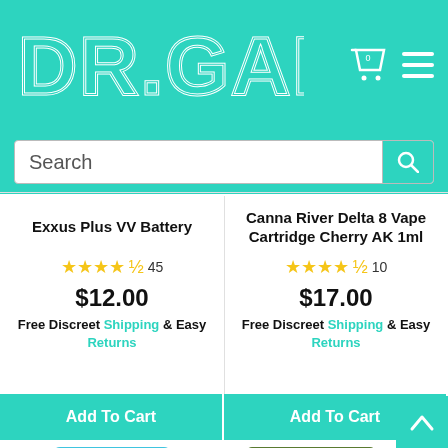[Figure (screenshot): DR.GANJA website header with teal background, logo in outlined white bubble letters, shopping cart icon with 0, and hamburger menu icon]
Search
Exxus Plus VV Battery
Canna River Delta 8 Vape Cartridge Cherry AK 1ml
★★★★½ 45
$12.00
Free Discreet Shipping & Easy Returns
★★★★½ 10
$17.00
Free Discreet Shipping & Easy Returns
Add To Cart
Add To Cart
[Figure (photo): ELLZ Hemp Pre Rolls product package on teal background]
[Figure (photo): Knockout Blend vape device product on green camouflage background]